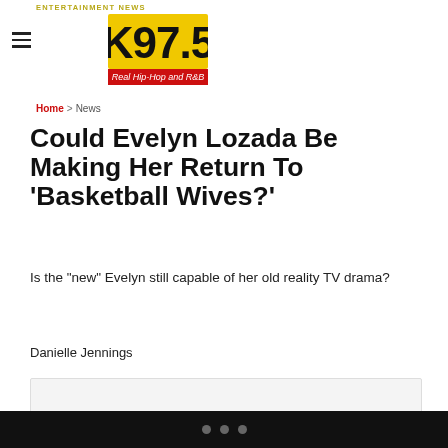K97.5 — Real Hip-Hop and R&B
ENTERTAINMENT NEWS
Home > News
Could Evelyn Lozada Be Making Her Return To 'Basketball Wives?'
Is the "new" Evelyn still capable of her old reality TV drama?
Danielle Jennings
[Figure (other): K97.5 Featured Video embedded player box]
K97.5 Featured Video